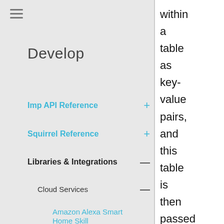[Figure (other): Hamburger menu icon (three horizontal lines)]
Develop
Imp API Reference +
Squirrel Reference +
Libraries & Integrations —
Cloud Services —
Amazon Alexa Smart Home Skill
Amazon DRS
AWSCloudWatchLogs
AWSDynamoDB
within a table as key-value pairs, and this table is then passed into the method's data parameter. Existing